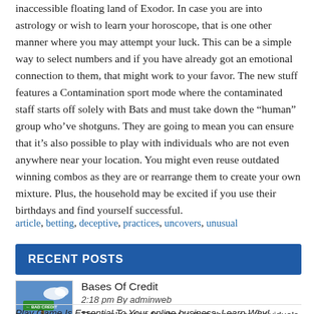inaccessible floating land of Exodor. In case you are into astrology or wish to learn your horoscope, that is one other manner where you may attempt your luck. This can be a simple way to select numbers and if you have already got an emotional connection to them, that might work to your favor. The new stuff features a Contamination sport mode where the contaminated staff starts off solely with Bats and must take down the “human” group who’ve shotguns. They are going to mean you can ensure that it’s also possible to play with individuals who are not even anywhere near your location. You might even reuse outdated winning combos as they are or rearrange them to create your own mixture. Plus, the household may be excited if you use their birthdays and find yourself successful.
article, betting, deceptive, practices, uncovers, unusual
RECENT POSTS
Bases Of Credit
2:18 pm By adminweb
The explanation for that is that, there are individuals who want to place down cash in alternate for decrease month-to-month repayments and others who dont have Read More »
Play Game Is Essential To Your online business. Learn Why!